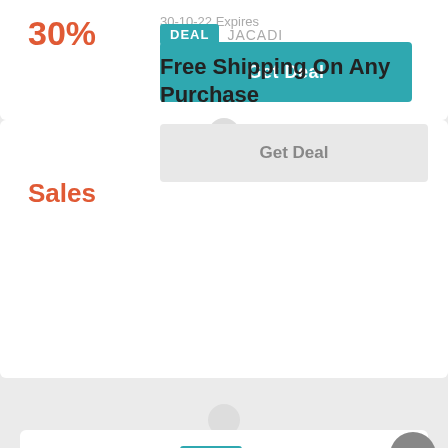30%
30-10-22 Expires
Get Deal
DEAL JACADI
Free Shipping On Any Purchase
Sales
Get Deal
CODE JACADI
Gain Up To 20% Off Selected Styles Of Summer Sale
20%